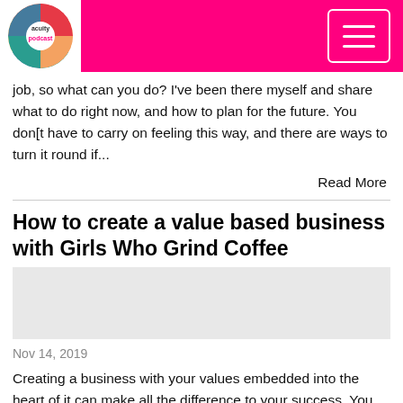Acuity Podcast
job, so what can you do? I've been there myself and share what to do right now, and how to plan for the future. You don[t have to carry on feeling this way, and there are ways to turn it round if...
Read More
How to create a value based business with Girls Who Grind Coffee
[Figure (photo): Article thumbnail image placeholder]
Nov 14, 2019
Creating a business with your values embedded into the heart of it can make all the difference to your success. You share